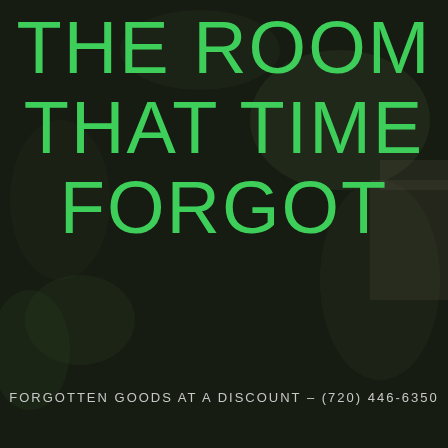[Figure (screenshot): Dark background website header with blurred outdoor/garden photo]
THE ROOM THAT TIME FORGOT
FORGOTTEN GOODS AT A DISCOUNT – (720) 446-6350
0 - $0.00 🛒
C
≡ MENU
HOME / BUSINESS PRODUCTS / POLYCOM SOUNDSTATION 2 WITH POWER SUPPLY NO EXTERNAL MICS WORKING TESTED
[Figure (photo): Partial product image at bottom of page]